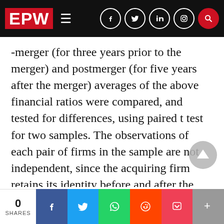EPW
-merger (for three years prior to the merger) and postmerger (for five years after the merger) averages of the above financial ratios were compared, and tested for differences, using paired t test for two samples. The observations of each pair of firms in the sample are not independent, since the acquiring firm retains its identity before and after the merger. Therefore, the paired t test was considered appropriate to measure the merger induced operating performance changes. The year of completion of the merger, denoted as year 0, has been excluded from the estimation. For the ye prior to the merger, the operating ratios of the
0 SHARES  f  Twitter  WhatsApp  Reddit  Pocket  +